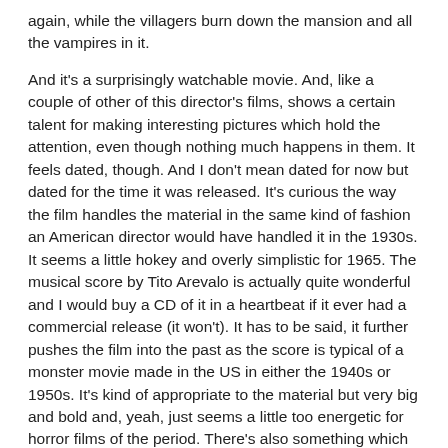again, while the villagers burn down the mansion and all the vampires in it.
And it's a surprisingly watchable movie. And, like a couple of other of this director's films, shows a certain talent for making interesting pictures which hold the attention, even though nothing much happens in them. It feels dated, though. And I don't mean dated for now but dated for the time it was released. It's curious the way the film handles the material in the same kind of fashion an American director would have handled it in the 1930s. It seems a little hokey and overly simplistic for 1965. The musical score by Tito Arevalo is actually quite wonderful and I would buy a CD of it in a heartbeat if it ever had a commercial release (it won't). It has to be said, it further pushes the film into the past as the score is typical of a monster movie made in the US in either the 1940s or 1950s. It's kind of appropriate to the material but very big and bold and, yeah, just seems a little too energetic for horror films of the period. There's also something which sounds a lot like a theremin on the score towards the end... another reason why I'd love a recording of this, to go with my other albums which feature that particular